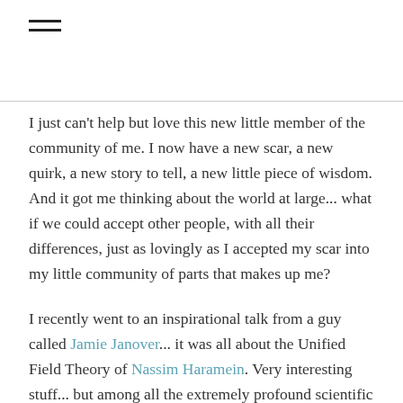I just can't help but love this new little member of the community of me. I now have a new scar, a new quirk, a new story to tell, a new little piece of wisdom. And it got me thinking about the world at large... what if we could accept other people, with all their differences, just as lovingly as I accepted my scar into my little community of parts that makes up me?
I recently went to an inspirational talk from a guy called Jamie Janover... it was all about the Unified Field Theory of Nassim Haramein. Very interesting stuff... but among all the extremely profound scientific breakthroughs into the understanding of our reality, Jamie talked about his vision for the Earth, and I really resonated with what he said...
He likened it to a festival, (you know festivals where everyone gets along so well like a beautiful little community for the short time that it is running, and interesting people express